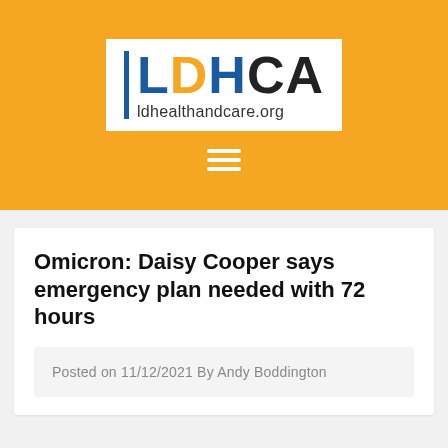[Figure (logo): LDHCA logo with blue vertical bar, orange 'LD', blue 'H', black 'CA', and URL ldhealthandcare.org on white background, set against orange banner with hamburger menu icon below]
Omicron: Daisy Cooper says emergency plan needed with 72 hours
Posted on 11/12/2021 By Andy Boddington